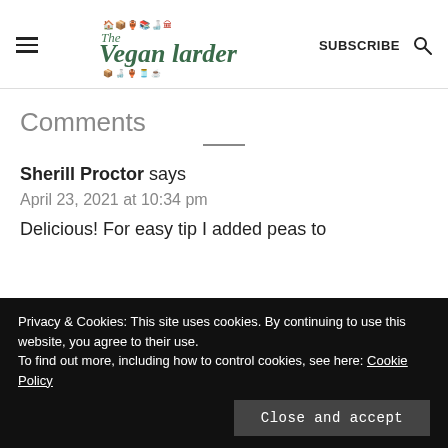The Vegan Larder — SUBSCRIBE
Comments
Sherill Proctor says
April 23, 2021 at 10:34 pm
Privacy & Cookies: This site uses cookies. By continuing to use this website, you agree to their use.
To find out more, including how to control cookies, see here: Cookie Policy
Close and accept
Delicious! For easy tip I added peas to